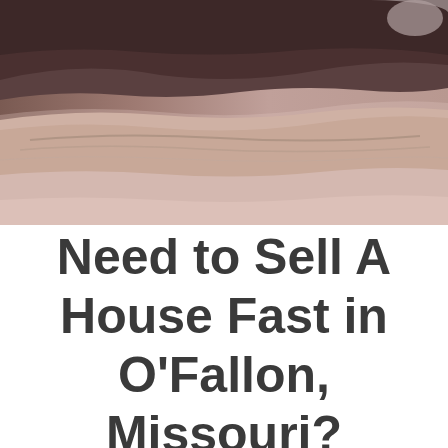[Figure (photo): Close-up photo of a human hand held flat, palm-side down, against a light blue-white background. The underside of the wrist and base of the hand is visible, showing skin texture and folds.]
Need to Sell A House Fast in O'Fallon, Missouri?